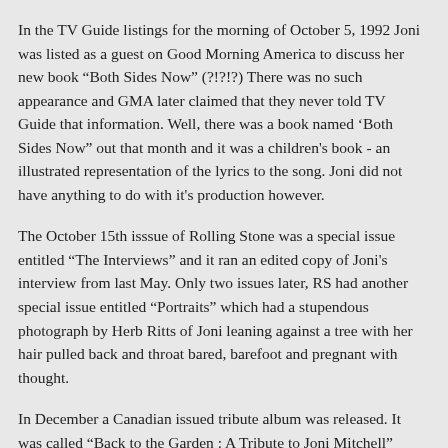In the TV Guide listings for the morning of October 5, 1992 Joni was listed as a guest on Good Morning America to discuss her new book "Both Sides Now" (?!?!?) There was no such appearance and GMA later claimed that they never told TV Guide that information. Well, there was a book named 'Both Sides Now" out that month and it was a children's book - an illustrated representation of the lyrics to the song. Joni did not have anything to do with it's production however.
The October 15th isssue of Rolling Stone was a special issue entitled "The Interviews" and it ran an edited copy of Joni's interview from last May. Only two issues later, RS had another special issue entitled "Portraits" which had a stupendous photograph by Herb Ritts of Joni leaning against a tree with her hair pulled back and throat bared, barefoot and pregnant with thought.
In December a Canadian issued tribute album was released. It was called "Back to the Garden : A Tribute to Joni Mitchell"